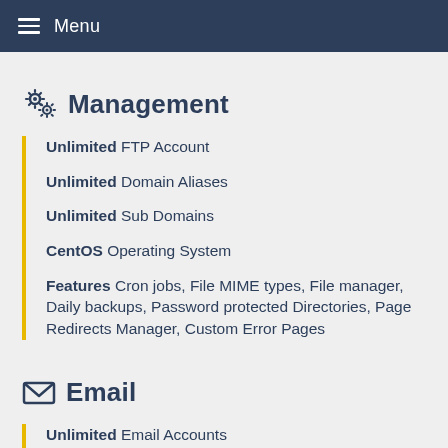Menu
Management
Unlimited FTP Account
Unlimited Domain Aliases
Unlimited Sub Domains
CentOS Operating System
Features Cron jobs, File MIME types, File manager, Daily backups, Password protected Directories, Page Redirects Manager, Custom Error Pages
Email
Unlimited Email Accounts
Emails can be configured using Pop3, IMAP and SMTP
Unlimited Email Aliases, Auto-Responders & Forwarders